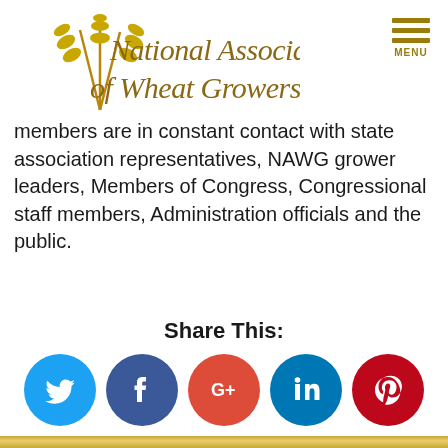[Figure (logo): National Association of Wheat Growers logo with wheat stalk illustration and cursive text]
members are in constant contact with state association representatives, NAWG grower leaders, Members of Congress, Congressional staff members, Administration officials and the public.
Share This:
[Figure (infographic): Row of five social media icons: Twitter (blue bird), Facebook (blue f), Google+ (red G+), LinkedIn (blue in), Pinterest (red P)]